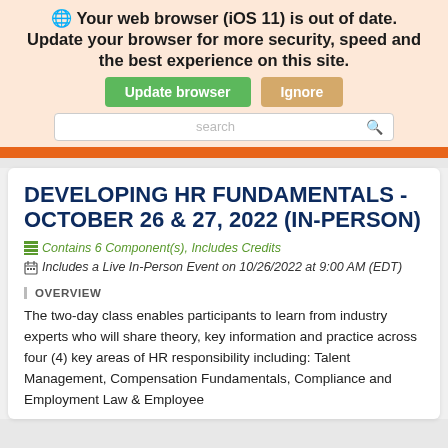Your web browser (iOS 11) is out of date. Update your browser for more security, speed and the best experience on this site.
DEVELOPING HR FUNDAMENTALS - OCTOBER 26 & 27, 2022 (IN-PERSON)
Contains 6 Component(s), Includes Credits
Includes a Live In-Person Event on 10/26/2022 at 9:00 AM (EDT)
OVERVIEW
The two-day class enables participants to learn from industry experts who will share theory, key information and practice across four (4) key areas of HR responsibility including: Talent Management, Compensation Fundamentals, Compliance and Employment Law & Employee